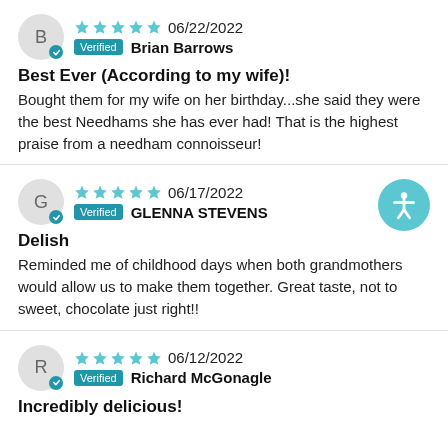★★★★★ 06/22/2022 Verified Brian Barrows
Best Ever (According to my wife)!
Bought them for my wife on her birthday...she said they were the best Needhams she has ever had! That is the highest praise from a needham connoisseur!
★★★★★ 06/17/2022 Verified GLENNA STEVENS
Delish
Reminded me of childhood days when both grandmothers would allow us to make them together. Great taste, not to sweet, chocolate just right!!
★★★★★ 06/12/2022 Verified Richard McGonagle
Incredibly delicious!